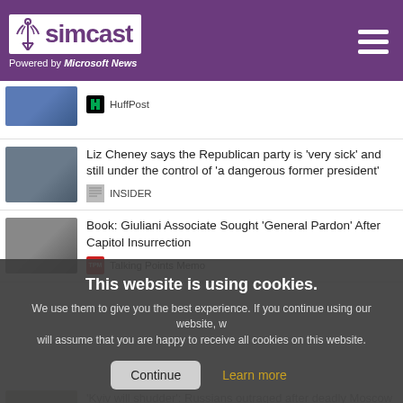simcast — Powered by Microsoft News
HuffPost
Liz Cheney says the Republican party is 'very sick' and still under the control of 'a dangerous former president'
INSIDER
Book: Giuliani Associate Sought 'General Pardon' After Capitol Insurrection
Talking Points Memo
This website is using cookies.
We use them to give you the best experience. If you continue using our website, we will assume that you are happy to receive all cookies on this website.
Continue   Learn more
'Kyiv will shudder': Russians outraged after deadly Moscow car bombing kills daughter of Putin ally. Live updates.
USA TODAY
10 Things You Didn't Know About Spider-Man & Daredevil's